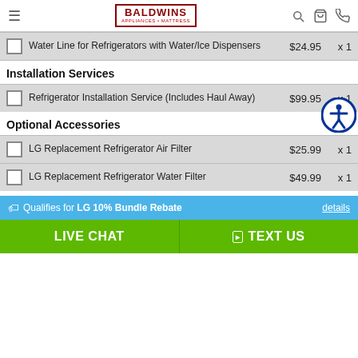Baldwins Appliances & Mattress
Water Line for Refrigerators with Water/Ice Dispensers  $24.95  x 1
Installation Services
Refrigerator Installation Service (Includes Haul Away)  $99.95  x 1
Optional Accessories
LG Replacement Refrigerator Air Filter  $25.99  x 1
LG Replacement Refrigerator Water Filter  $49.99  x 1
Qualifies for LG 10% Bundle Rebate  details
LIVE CHAT  TEXT US